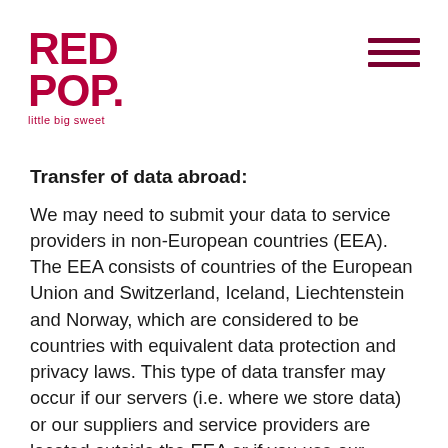[Figure (logo): Red Pop logo with 'little big sweet' tagline in dark red/crimson color]
Transfer of data abroad:
We may need to submit your data to service providers in non-European countries (EEA). The EEA consists of countries of the European Union and Switzerland, Iceland, Liechtenstein and Norway, which are considered to be countries with equivalent data protection and privacy laws. This type of data transfer may occur if our servers (i.e. where we store data) or our suppliers and service providers are located outside the EEA or if you use our products and services during your stay in